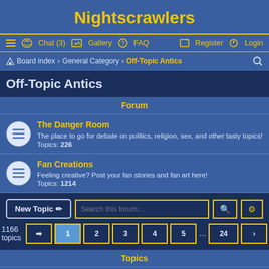Nightscrawlers
☰  Chat (3)  Gallery  FAQ  Register  Login
Board index › General Category › Off-Topic Antics
Off-Topic Antics
Forum
The Danger Room
The place to go for debate on politics, religion, sex, and other tasty topics!
Topics: 226
Fan Creations
Feeling creative? Post your fan stories and fan art here!
Topics: 1214
New Topic  Search this forum…
1166 topics  1  2  3  4  5  ...  24
Topics
The Best of Nightscrawlers Chat!
Last post by Esynthia « Tue Jun 29, 2021 5:59 am
Replies: 634